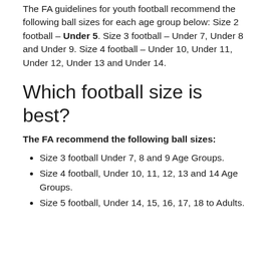The FA guidelines for youth football recommend the following ball sizes for each age group below: Size 2 football – Under 5. Size 3 football – Under 7, Under 8 and Under 9. Size 4 football – Under 10, Under 11, Under 12, Under 13 and Under 14.
Which football size is best?
The FA recommend the following ball sizes:
Size 3 football Under 7, 8 and 9 Age Groups.
Size 4 football, Under 10, 11, 12, 13 and 14 Age Groups.
Size 5 football, Under 14, 15, 16, 17, 18 to Adults.